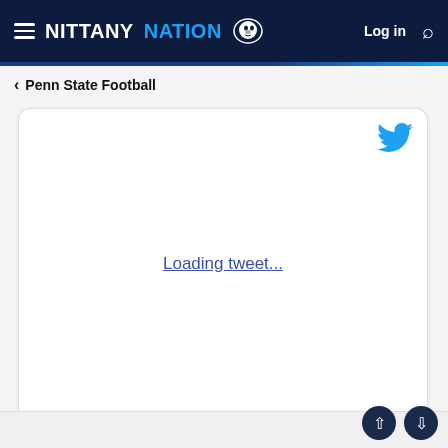NITTANY NATION — Log in
Penn State Football
[Figure (screenshot): Tweet embed card showing a Twitter bird icon in the top-right and 'Loading tweet...' link text centered in the card body]
papa_ed, JimNazium, paws1957 and 1 other person